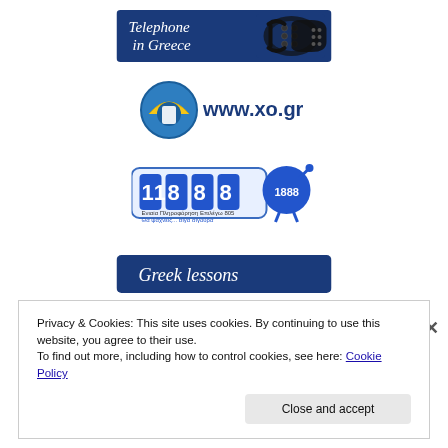[Figure (logo): Telephone in Greece banner – dark blue background with cursive white text 'Telephone in Greece' and a telephone handset icon]
[Figure (logo): www.xo.gr logo – round teal/blue circle with a phone icon and text 'www.xo.gr']
[Figure (logo): 11 888 directory service logo – blue rounded rectangle with digits '11 888' and a mascot character holding a magnifying glass]
[Figure (logo): Greek lessons banner – dark blue rounded rectangle with italic white text 'Greek lessons']
Privacy & Cookies: This site uses cookies. By continuing to use this website, you agree to their use.
To find out more, including how to control cookies, see here: Cookie Policy
Close and accept